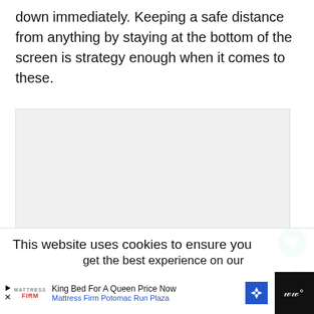down immediately. Keeping a safe distance from anything by staying at the bottom of the screen is strategy enough when it comes to these.
[Figure (other): Light gray placeholder image box]
This website uses cookies to ensure you get the best experience on our
King Bed For A Queen Price Now  Mattress Firm Potomac Run Plaza